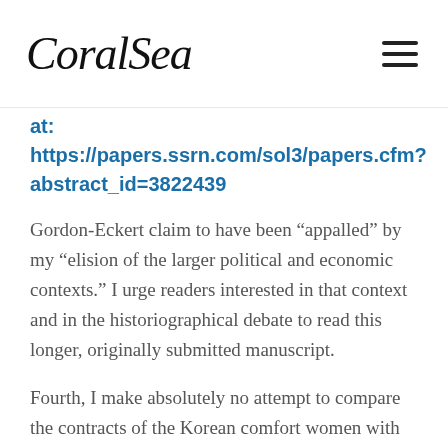CoralSea
at: https://papers.ssrn.com/sol3/papers.cfm?abstract_id=3822439
Gordon-Eckert claim to have been “appalled” by my “elision of the larger political and economic contexts.” I urge readers interested in that context and in the historiographical debate to read this longer, originally submitted manuscript.
Fourth, I make absolutely no attempt to compare the contracts of the Korean comfort women with those of the Japanese comfort women. Very o... Gordon-Eckert seem to imply that this comparison